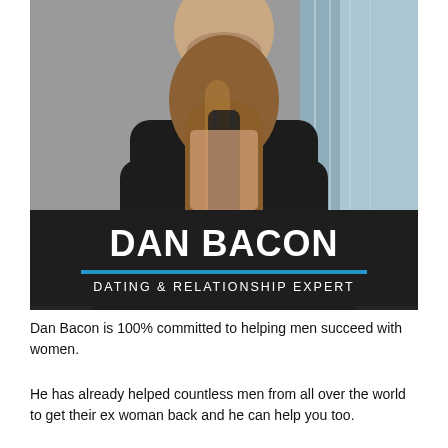[Figure (photo): A man in a black leather jacket embracing a woman with long brown hair from behind, shown from behind against a grey and blue curtain background, with a dark banner overlay at the bottom containing the name 'DAN BACON' and subtitle 'DATING & RELATIONSHIP EXPERT']
Dan Bacon is 100% committed to helping men succeed with women.
He has already helped countless men from all over the world to get their ex woman back and he can help you too.